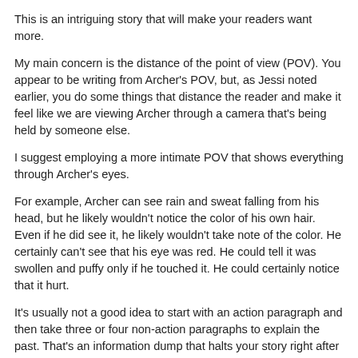This is an intriguing story that will make your readers want more.
My main concern is the distance of the point of view (POV). You appear to be writing from Archer's POV, but, as Jessi noted earlier, you do some things that distance the reader and make it feel like we are viewing Archer through a camera that's being held by someone else.
I suggest employing a more intimate POV that shows everything through Archer's eyes.
For example, Archer can see rain and sweat falling from his head, but he likely wouldn't notice the color of his own hair. Even if he did see it, he likely wouldn't take note of the color. He certainly can't see that his eye was red. He could tell it was swollen and puffy only if he touched it. He could certainly notice that it hurt.
It's usually not a good idea to start with an action paragraph and then take three or four non-action paragraphs to explain the past. That's an information dump that halts your story right after it starts.